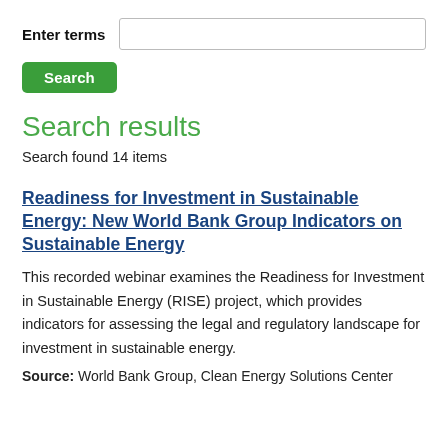Enter terms
Search results
Search found 14 items
Readiness for Investment in Sustainable Energy: New World Bank Group Indicators on Sustainable Energy
This recorded webinar examines the Readiness for Investment in Sustainable Energy (RISE) project, which provides indicators for assessing the legal and regulatory landscape for investment in sustainable energy.
Source: World Bank Group, Clean Energy Solutions Center